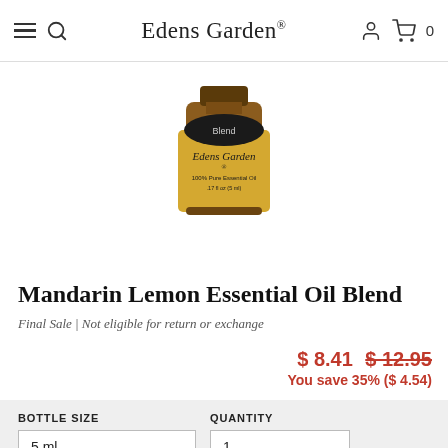Edens Garden®
[Figure (photo): Product photo of an Edens Garden essential oil bottle with gold label showing 'Blend', 'Edens Garden®', '100% Pure Essential Oil', '.17 fl oz (5 ml)']
Mandarin Lemon Essential Oil Blend
Final Sale | Not eligible for return or exchange
$ 8.41  $ 12.95  You save 35% ($ 4.54)
BOTTLE SIZE   QUANTITY
5 ml   1